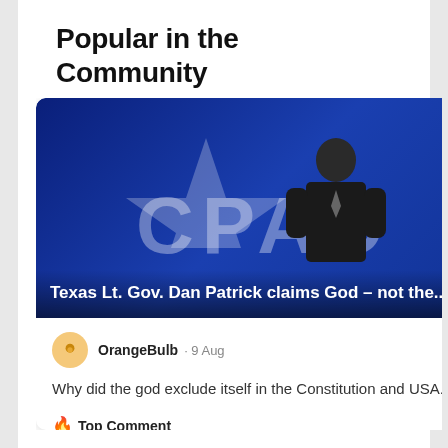Popular in the Community
[Figure (screenshot): News article card showing Texas Lt. Gov. Dan Patrick at CPAC event with blue background. Headline reads: 'Texas Lt. Gov. Dan Patrick claims God – not the...' with user OrangeBulb commenting on 9 Aug: 'Why did the god exclude itself in the Constitution and USA...' with Top Comment label and thumbs up icon. Partially visible second card with headline starting 'Repu... alleg...' and comment starting 'Hope... not, h...']